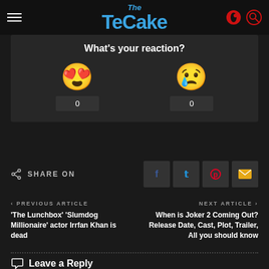The TeCake
What's your reaction?
0
0
SHARE ON
PREVIOUS ARTICLE
'The Lunchbox' 'Slumdog Millionaire' actor Irrfan Khan is dead
NEXT ARTICLE
When is Joker 2 Coming Out? Release Date, Cast, Plot, Trailer, All you should know
Leave a Reply